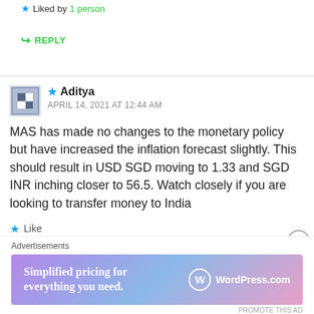Liked by 1 person
REPLY
Aditya
APRIL 14, 2021 AT 12:44 AM
MAS has made no changes to the monetary policy but have increased the inflation forecast slightly. This should result in USD SGD moving to 1.33 and SGD INR inching closer to 56.5. Watch closely if you are looking to transfer money to India
Like
REPLY
[Figure (other): WordPress.com advertisement banner: Simplified pricing for everything you need.]